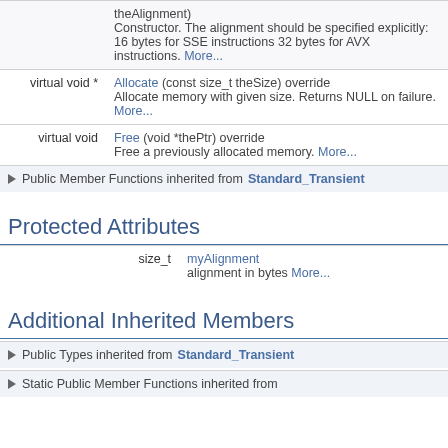| Type | Description |
| --- | --- |
| theAlignment) | Constructor. The alignment should be specified explicitly: 16 bytes for SSE instructions 32 bytes for AVX instructions. More... |
| virtual void * | Allocate (const size_t theSize) override
Allocate memory with given size. Returns NULL on failure. More... |
| virtual void | Free (void *thePtr) override
Free a previously allocated memory. More... |
Public Member Functions inherited from Standard_Transient
Protected Attributes
| Type | Description |
| --- | --- |
| size_t | myAlignment
alignment in bytes More... |
Additional Inherited Members
Public Types inherited from Standard_Transient
Static Public Member Functions inherited from